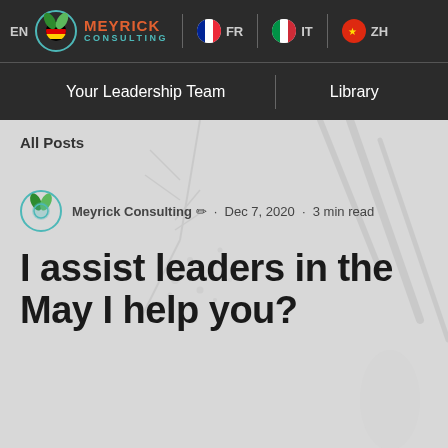EN | DE | FR | IT | ZH — Meyrick Consulting navigation bar with language selectors and links: Your Leadership Team, Library
All Posts
Meyrick Consulting ✏ · Dec 7, 2020 · 3 min read
I assist leaders in the May I help you?